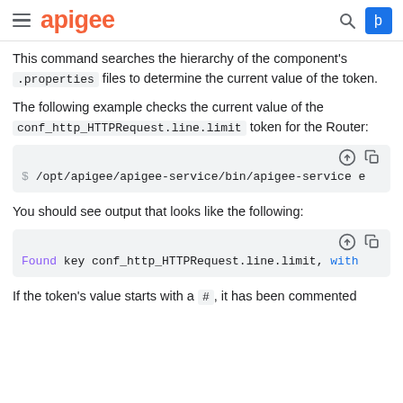apigee
This command searches the hierarchy of the component's .properties files to determine the current value of the token.
The following example checks the current value of the conf_http_HTTPRequest.line.limit token for the Router:
[Figure (screenshot): Code block showing shell command: $ /opt/apigee/apigee-service/bin/apigee-service e]
You should see output that looks like the following:
[Figure (screenshot): Code block showing: Found key conf_http_HTTPRequest.line.limit, with]
If the token's value starts with a #, it has been commented